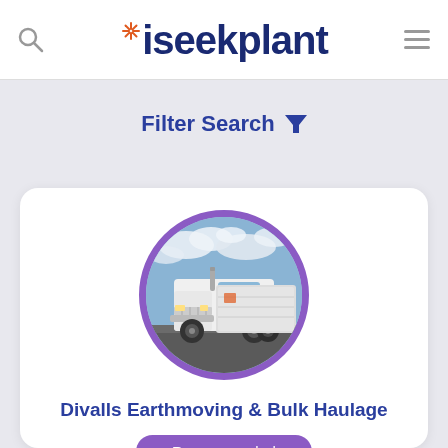iseekplant
Filter Search
[Figure (photo): A white semi-truck / heavy haulage truck photographed against a cloudy blue sky, shown inside a circular purple-bordered profile image on a company listing card.]
Divalls Earthmoving & Bulk Haulage
Recommended